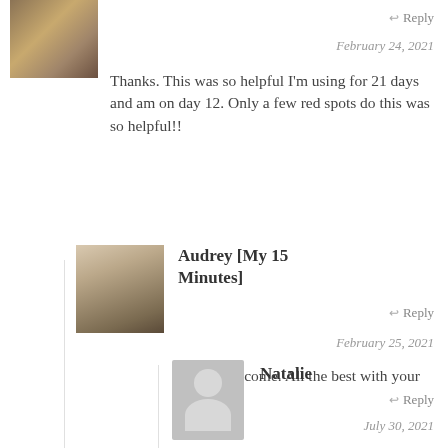[Figure (photo): Small thumbnail avatar showing a painting of horses]
↩ Reply
February 24, 2021
Thanks. This was so helpful I'm using for 21 days and am on day 12. Only a few red spots do this was so helpful!!
[Figure (photo): Avatar photo of Audrey, a woman with glasses and blonde hair]
Audrey [My 15 Minutes]
↩ Reply
February 25, 2021
You're welcome. All the best with your treatment!
[Figure (photo): Generic grey placeholder avatar silhouette]
Natalie
↩ Reply
July 30, 2021